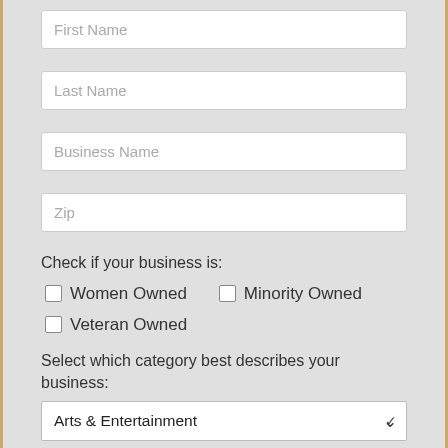[Figure (other): Form input field with placeholder text 'First Name']
[Figure (other): Form input field with placeholder text 'Last Name']
[Figure (other): Form input field with placeholder text 'Business Name']
[Figure (other): Form input field with placeholder text 'Zip']
Check if your business is:
Women Owned
Minority Owned
Veteran Owned
Select which category best describes your business:
[Figure (other): Dropdown select box showing 'Arts & Entertainment' with a down chevron]
States